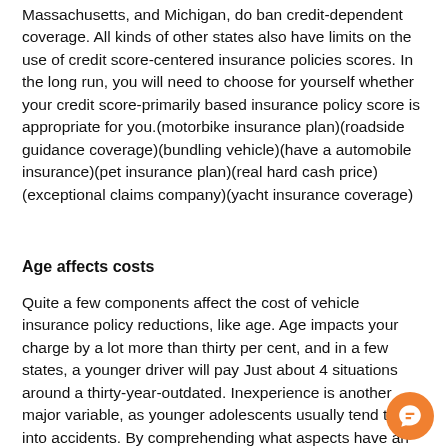Massachusetts, and Michigan, do ban credit-dependent coverage. All kinds of other states also have limits on the use of credit score-centered insurance policies scores. In the long run, you will need to choose for yourself whether your credit score-primarily based insurance policy score is appropriate for you.(motorbike insurance plan)(roadside guidance coverage)(bundling vehicle)(have a automobile insurance)(pet insurance plan)(real hard cash price)(exceptional claims company)(yacht insurance coverage)
Age affects costs
Quite a few components affect the cost of vehicle insurance policy reductions, like age. Age impacts your charge by a lot more than thirty per cent, and in a few states, a younger driver will pay Just about 4 situations around a thirty-year-outdated. Inexperience is another major variable, as younger adolescents usually tend to get into accidents. By comprehending what aspects have an affect on your ra...